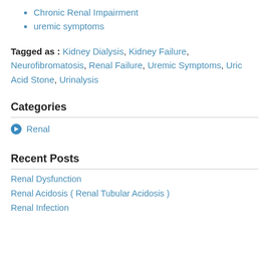Chronic Renal Impairment
uremic symptoms
Tagged as : Kidney Dialysis, Kidney Failure, Neurofibromatosis, Renal Failure, Uremic Symptoms, Uric Acid Stone, Urinalysis
Categories
Renal
Recent Posts
Renal Dysfunction
Renal Acidosis ( Renal Tubular Acidosis )
Renal Infection